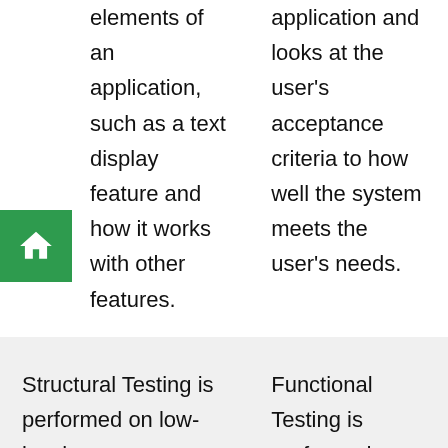elements of an application, such as a text display feature and how it works with other features.
application and looks at the user's acceptance criteria to how well the system meets the user's needs.
Structural Testing is performed on low-level modules/software components
Functional Testing is performed on the entire software system as per required specifications.
Structural testing does not
Functional testing